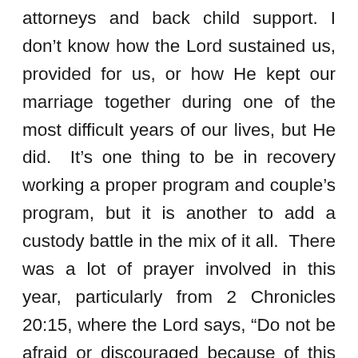attorneys and back child support. I don't know how the Lord sustained us, provided for us, or how He kept our marriage together during one of the most difficult years of our lives, but He did.  It's one thing to be in recovery working a proper program and couple's program, but it is another to add a custody battle in the mix of it all.  There was a lot of prayer involved in this year, particularly from 2 Chronicles 20:15, where the Lord says, “Do not be afraid or discouraged because of this vast army.  For the battle is not yours, but God’s.” I learned to turn over this custody battle to God, for Him to do what was in Elizabeth’s best interest, either to be a huge part of our family or to remain with her grandmother and mother.  Either way, we were preparing to say, “I learned the secret of the trade.”